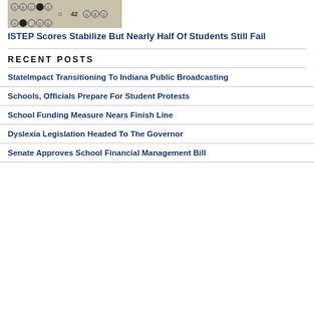[Figure (photo): Close-up photo of a standardized test answer sheet (scantron) with multiple choice bubbles labeled A, B, C, D, E. Some bubbles are filled in black. Number 42 is visible.]
ISTEP Scores Stabilize But Nearly Half Of Students Still Fail
RECENT POSTS
StateImpact Transitioning To Indiana Public Broadcasting
Schools, Officials Prepare For Student Protests
School Funding Measure Nears Finish Line
Dyslexia Legislation Headed To The Governor
Senate Approves School Financial Management Bill